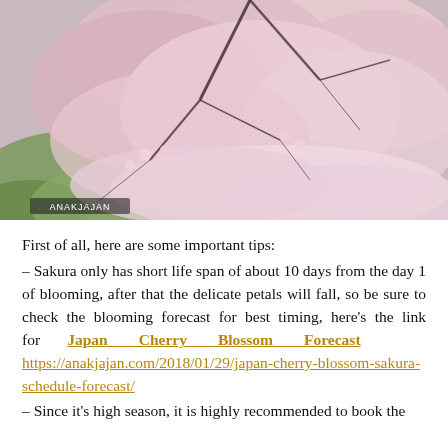[Figure (photo): Cherry blossom (sakura) tree in full bloom with pink flowers and green grass visible below. Photo credit: ANAKJAJAN watermark visible in lower left.]
First of all, here are some important tips:
– Sakura only has short life span of about 10 days from the day 1 of blooming, after that the delicate petals will fall, so be sure to check the blooming forecast for best timing, here's the link for Japan Cherry Blossom Forecast https://anakjajan.com/2018/01/29/japan-cherry-blossom-sakura-schedule-forecast/
– Since it's high season, it is highly recommended to book the